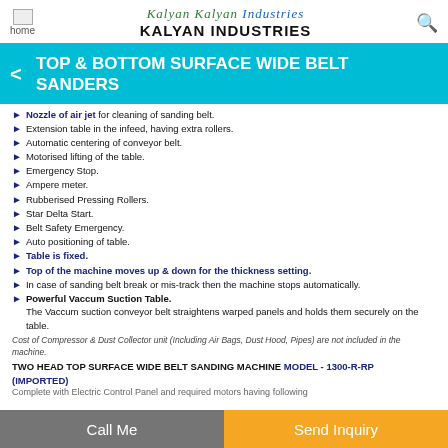home | Kalyan Industries | KALYAN INDUSTRIES
TOP & BOTTOM SURFACE WIDE BELT SANDERS
Nozzle of air jet for cleaning of sanding belt.
Extension table in the infeed, having extra rollers.
Automatic centering of conveyor belt.
Motorised lifting of the table.
Emergency Stop.
Ampere meter.
Rubberised Pressing Rollers.
Star Delta Start.
Belt Safety Emergency.
Auto positioning of table.
Table is fixed.
Top of the machine moves up & down for the thickness setting.
In case of sanding belt break or mis-track then the machine stops automatically.
Powerful Vaccum Suction Table. The Vaccum suction conveyor belt straightens warped panels and holds them securely on the table.
Cost of Compressor & Dust Collector unit (Including Air Bags, Dust Hood, Pipes) are not included in the machine.
TWO HEAD TOP SURFACE WIDE BELT SANDING MACHINE MODEL - 1300-R-RP (IMPORTED)
Complete with Electric Control Panel and required motors having following
Call Me | Send Inquiry